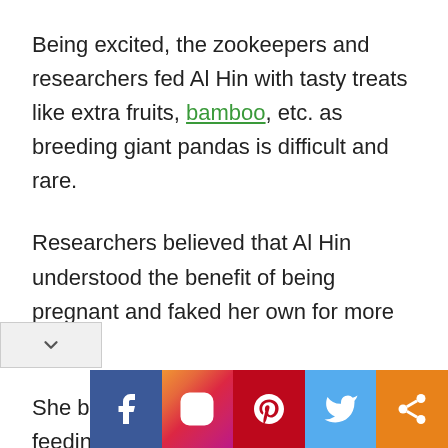Being excited, the zookeepers and researchers fed Al Hin with tasty treats like extra fruits, bamboo, etc. as breeding giant pandas is difficult and rare.
Researchers believed that Al Hin understood the benefit of being pregnant and faked her own for more care.
She behaved normally after each feeding time
[Figure (infographic): Social media sharing buttons: Facebook (blue), Instagram (gradient), Pinterest (red), Twitter (light blue), Share (orange)]